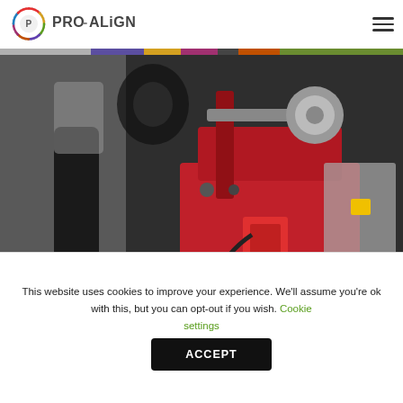PRO-ALIGN logo and navigation menu
[Figure (photo): Person operating a red tyre changer machine on a dark floor at an exhibition or trade show. The machine is large and red with visible mechanical components including arms, pedals and controls.]
This website uses cookies to improve your experience. We'll assume you're ok with this, but you can opt-out if you wish. Cookie settings ACCEPT